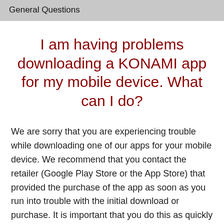General Questions
I am having problems downloading a KONAMI app for my mobile device. What can I do?
We are sorry that you are experiencing trouble while downloading one of our apps for your mobile device. We recommend that you contact the retailer (Google Play Store or the App Store) that provided the purchase of the app as soon as you run into trouble with the initial download or purchase. It is important that you do this as quickly as possible as most retailers have a time period